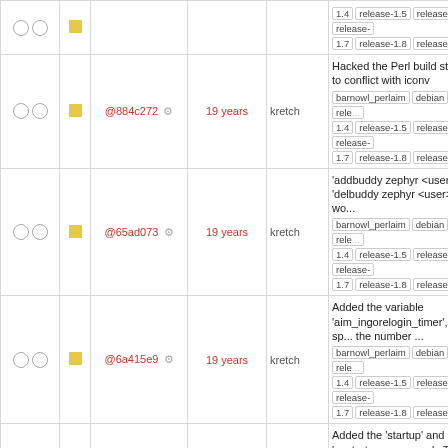| checks | sq | hash | age | author | description |
| --- | --- | --- | --- | --- | --- |
| ○ ○ | ■ | @884c272 ⚙ | 19 years | kretch | Hacked the Perl build stuff not to conflict with iconv
barnowl_perlaim debian owl rele... 1.4 release-1.5 release-1.6 release... 1.7 release-1.8 release-1.9 |
| ○ ○ | ■ | @65ad073 ⚙ | 19 years | kretch | 'addbuddy zephyr <user>' and 'delbuddy zephyr <user>' now wo...
barnowl_perlaim debian owl rele... 1.4 release-1.5 release-1.6 release... 1.7 release-1.8 release-1.9 |
| ○ ○ | ■ | @6a415e9 ⚙ | 19 years | kretch | Added the variable 'aim_ingorelogin_timer', which sp... the number ...
barnowl_perlaim debian owl rele... 1.4 release-1.5 release-1.6 release... 1.7 release-1.8 release-1.9 |
| ○ ○ | ■ | @38cf544c ⚙ | 19 years | kretch | Added the 'startup' and 'unstartu... commands The $HOME/.owl dire...
... barnowl_perlaim debian owl re... 1.4 release-1.5 release-1.6 release... 1.7 release-1.8 release-1.9 |
| ○ ○ | ■ | @aa5f725 ⚙ | 19 years | kretch | added buddylists added the 'alist... command to print logged in aimu...
barnowl_perlaim debian owl rele... 1.4 release-1.5 release-1.6 release... 1.7 release-1.8 release-1.9 |
| ○ ○ | ■ | @d09e5a1 ⚙ | 19 years | kretch | Added libfaim Added basic AIM support, including the "aimlogin",
barnowl_perlaim debian owl rele... 1.4 release-1.5 release-1.6 release... 1.7 release-1.8 release-1.9 |